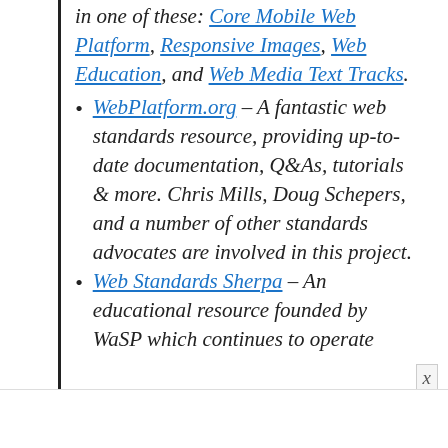in one of these: Core Mobile Web Platform, Responsive Images, Web Education, and Web Media Text Tracks.
WebPlatform.org – A fantastic web standards resource, providing up-to-date documentation, Q&As, tutorials & more. Chris Mills, Doug Schepers, and a number of other standards advocates are involved in this project.
Web Standards Sherpa – An educational resource founded by WaSP which continues to operate